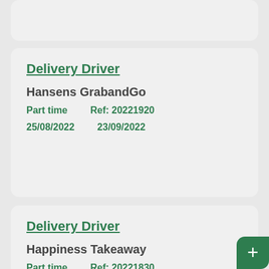Delivery Driver
Hansens GrabandGo
Part time    Ref: 20221920
25/08/2022    23/09/2022
Delivery Driver
Happiness Takeaway
Part time    Ref: 20221830